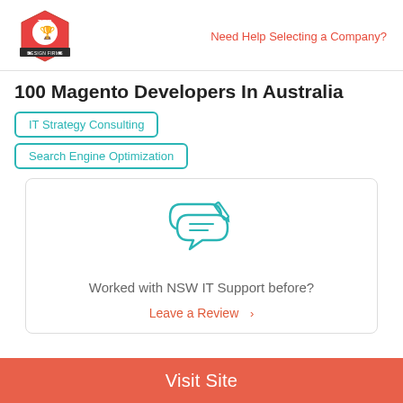Need Help Selecting a Company?
100 Magento Developers In Australia
IT Strategy Consulting
Search Engine Optimization
[Figure (illustration): Two overlapping speech/review bubbles with a pencil, in teal/turquoise outline style]
Worked with NSW IT Support before?
Leave a Review  >
Visit Site